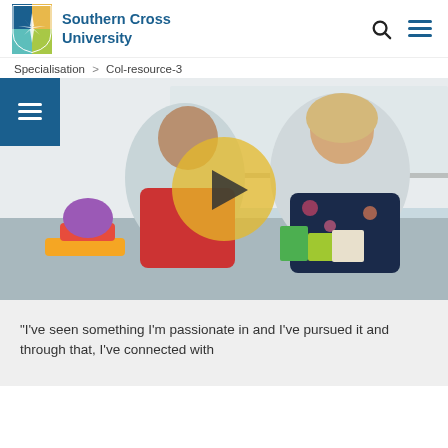Southern Cross University
Specialisation > Col-resource-3
[Figure (photo): Video thumbnail showing a young girl in a red top and a smiling blonde woman in a floral top, sitting at a table with children's toys and building blocks in a classroom setting. A semi-transparent yellow circle play button is overlaid in the center. A dark blue hamburger menu icon is in the top-left corner.]
"I've seen something I'm passionate in and I've pursued it and through that, I've connected with